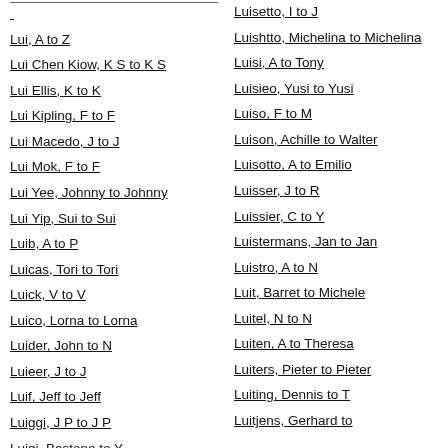Lui, A to Z
Lui Chen Kiow, K S to K S
Lui Ellis, K to K
Lui Kipling, F to F
Lui Macedo, J to J
Lui Mok, F to F
Lui Yee, Johnny to Johnny
Lui Yip, Sui to Sui
Luib, A to P
Luicas, Tori to Tori
Luick, V to V
Luico, Lorna to Lorna
Luider, John to N
Luieer, J to J
Luif, Jeff to Jeff
Luiggi, J P to J P
Luigi, Bastone to Y
Luigia, Bocchicchio to Parravano
Luisetto, I to J
Luishtto, Michelina to Michelina
Luisi, A to Tony
Luisieo, Yusi to Yusi
Luiso, F to M
Luison, Achille to Walter
Luisotto, A to Emilio
Luisser, J to R
Luissier, C to Y
Luistermans, Jan to Jan
Luistro, A to N
Luit, Barret to Michele
Luitel, N to N
Luiten, A to Theresa
Luiters, Pieter to Pieter
Luiting, Dennis to T
Luitjens, Gerhard to